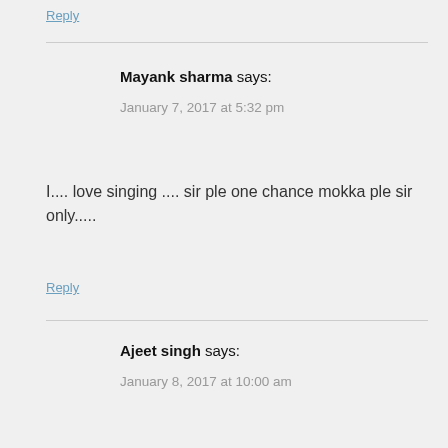Reply
Mayank sharma says:
January 7, 2017 at 5:32 pm
I.... love singing .... sir ple one chance mokka ple sir only.....
Reply
Ajeet singh says:
January 8, 2017 at 10:00 am